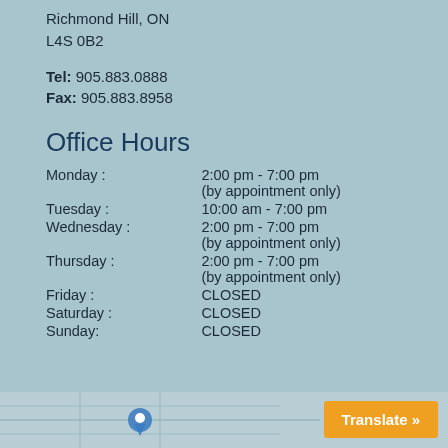Richmond Hill, ON
L4S 0B2
Tel: 905.883.0888
Fax: 905.883.8958
Office Hours
| Day | Hours |
| --- | --- |
| Monday : | 2:00 pm - 7:00 pm
(by appointment only) |
| Tuesday : | 10:00 am - 7:00 pm |
| Wednesday : | 2:00 pm - 7:00 pm
(by appointment only) |
| Thursday : | 2:00 pm - 7:00 pm
(by appointment only) |
| Friday : | CLOSED |
| Saturday : | CLOSED |
| Sunday: | CLOSED |
[Figure (map): Partial map view at the bottom of the page]
Translate »